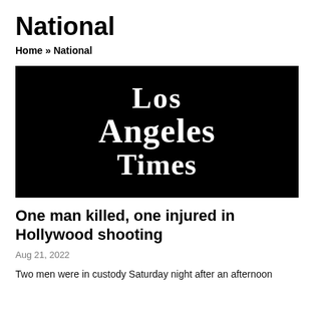National
Home » National
[Figure (logo): Los Angeles Times logo — white blackletter text on black background reading 'Los Angeles Times']
One man killed, one injured in Hollywood shooting
Aug 21, 2022
Two men were in custody Saturday night after an afternoon